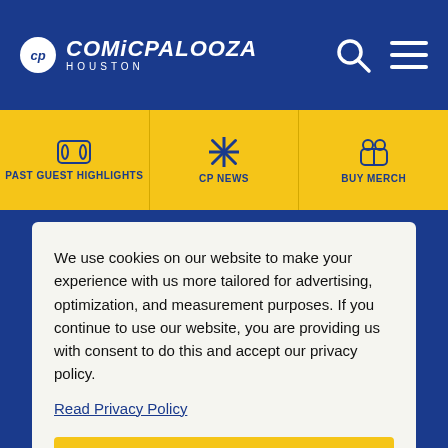CP COMICPALOOZA HOUSTON
PAST GUEST HIGHLIGHTS
CP NEWS
BUY MERCH
We use cookies on our website to make your experience with us more tailored for advertising, optimization, and measurement purposes. If you continue to use our website, you are providing us with consent to do this and accept our privacy policy.
Read Privacy Policy
Accept